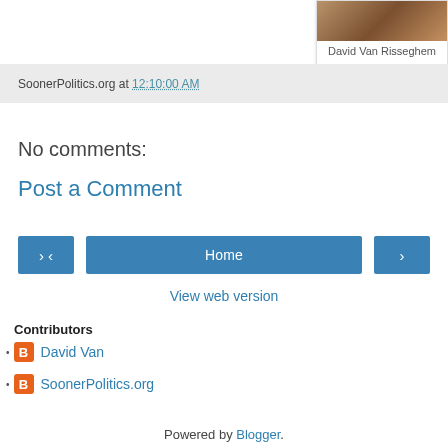[Figure (photo): Profile photo thumbnail of David Van Risseghem]
David Van Risseghem
SoonerPolitics.org at 12:10:00 AM
No comments:
Post a Comment
Home
View web version
Contributors
David Van
SoonerPolitics.org
Powered by Blogger.